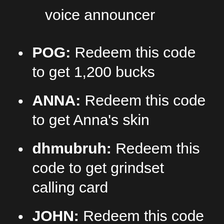voice announcer
POG: Redeem this code to get 1,200 bucks
ANNA: Redeem this code to get Anna's skin
dhmubruh: Redeem this code to get grindset calling card
JOHN: Redeem this code to get John's voice announcer
F: Redeem this code to get a calling